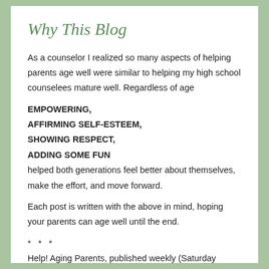Why This Blog
As a counselor I realized so many aspects of helping parents age well were similar to helping my high school counselees mature well. Regardless of age
EMPOWERING,
AFFIRMING SELF-ESTEEM,
SHOWING RESPECT,
ADDING SOME FUN
helped both generations feel better about themselves, make the effort, and move forward.
Each post is written with the above in mind, hoping your parents can age well until the end.
* * *
Help! Aging Parents, published weekly (Saturday night), is committed to sharing the best information,